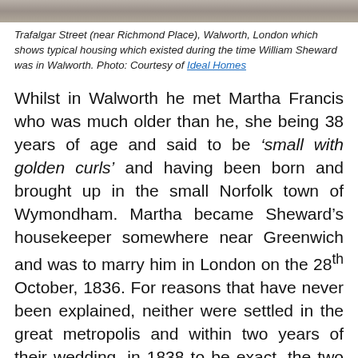[Figure (photo): Partial view of Trafalgar Street near Richmond Place, Walworth, London showing typical housing.]
Trafalgar Street (near Richmond Place), Walworth, London which shows typical housing which existed during the time William Sheward was in Walworth. Photo: Courtesy of Ideal Homes
Whilst in Walworth he met Martha Francis who was much older than he, she being 38 years of age and said to be ‘small with golden curls’ and having been born and brought up in the small Norfolk town of Wymondham. Martha became Sheward’s housekeeper somewhere near Greenwich and was to marry him in London on the 28th October, 1836. For reasons that have never been explained, neither were settled in the great metropolis and within two years of their wedding, in 1838 to be exact, the two uprooted and returned to Wymondham, lodging with Martha’s